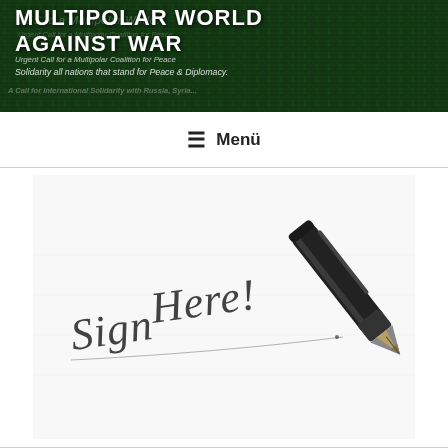MULTIPOLAR WORLD AGAINST WAR
YES to a Multipolar World.
Urgent Call for a Multipolar Coalition for Peace
Solidarity all nations that stand for Peace & Diplomacy.
A Call for International Solidarity with Russia, Syria...
☰ Menü
[Figure (photo): A fountain pen writing 'Sign Here!' in cursive handwriting on white paper. The pen nib is visible in close-up on the right side, with the handwritten text 'Sign Here!' in dark ink on the left-center of the image.]